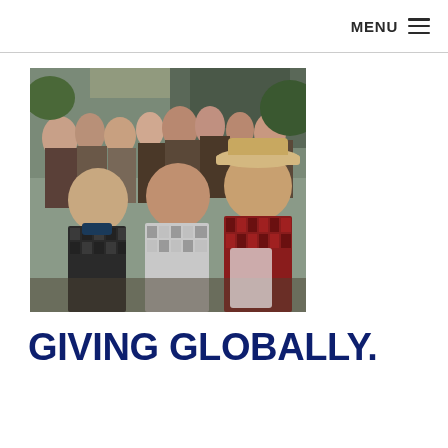MENU ☰
[Figure (photo): Group of young children smiling at an outdoor cultural or community event, with a crowd of people in the background. Three boys in the foreground wearing traditional and plaid shirts, one wearing a cowboy hat.]
GIVING GLOBALLY.